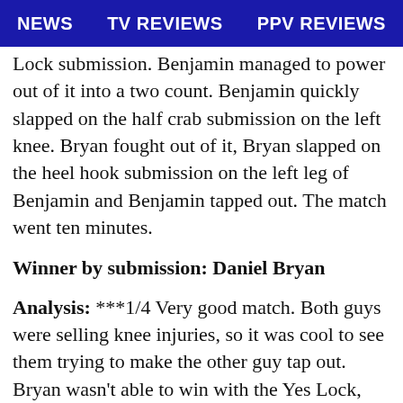NEWS   TV REVIEWS   PPV REVIEWS
Lock submission. Benjamin managed to power out of it into a two count. Benjamin quickly slapped on the half crab submission on the left knee. Bryan fought out of it, Bryan slapped on the heel hook submission on the left leg of Benjamin and Benjamin tapped out. The match went ten minutes.
Winner by submission: Daniel Bryan
Analysis: ***1/4 Very good match. Both guys were selling knee injuries, so it was cool to see them trying to make the other guy tap out. Bryan wasn't able to win with the Yes Lock, which is fine because the heel hook submission has been working for him. If they got a few more minutes it would have been nice, but they made the most of the time they were given. Bryan going over was the right call since he's